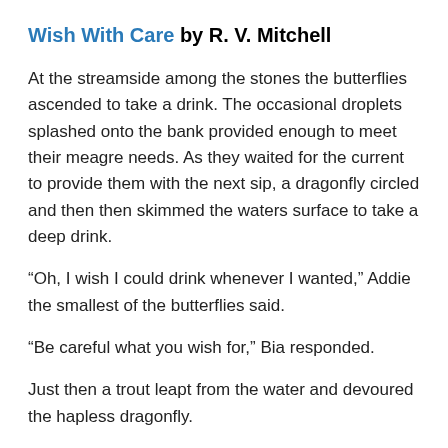Wish With Care by R. V. Mitchell
At the streamside among the stones the butterflies ascended to take a drink. The occasional droplets splashed onto the bank provided enough to meet their meagre needs. As they waited for the current to provide them with the next sip, a dragonfly circled and then then skimmed the waters surface to take a deep drink.
“Oh, I wish I could drink whenever I wanted,” Addie the smallest of the butterflies said.
“Be careful what you wish for,” Bia responded.
Just then a trout leapt from the water and devoured the hapless dragonfly.
“I see what you mean,” Addie gasped.